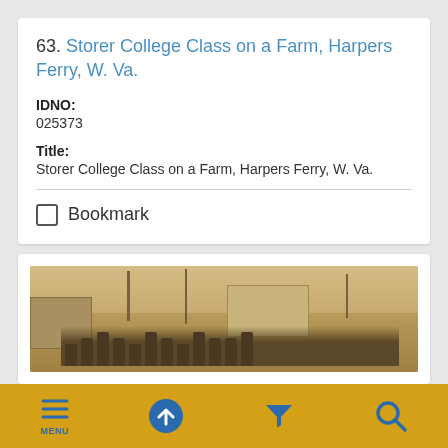63. Storer College Class on a Farm, Harpers Ferry, W. Va.
IDNO: 025373
Title: Storer College Class on a Farm, Harpers Ferry, W. Va.
Bookmark
[Figure (photo): Sepia-toned historical photograph showing a group of people standing outdoors near a farm building and bare trees at Harpers Ferry, West Virginia.]
MENU navigation bar with icons: Menu, up arrow, filter, search